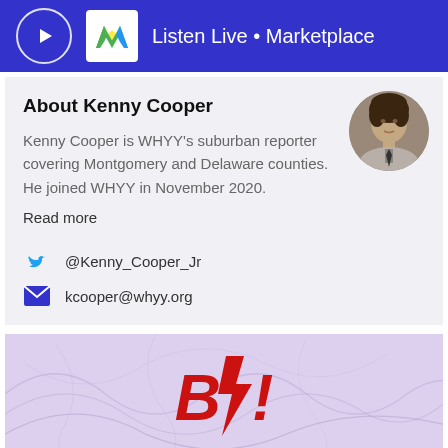Listen Live • Marketplace
About Kenny Cooper
Kenny Cooper is WHYY's suburban reporter covering Montgomery and Delaware counties. He joined WHYY in November 2020.
Read more
[Figure (photo): Circular profile photo of Kenny Cooper]
@Kenny_Cooper_Jr
kcooper@whyy.org
[Figure (photo): Partial image showing B7 logo with red stylized letters on a purple/lavender abstract background]